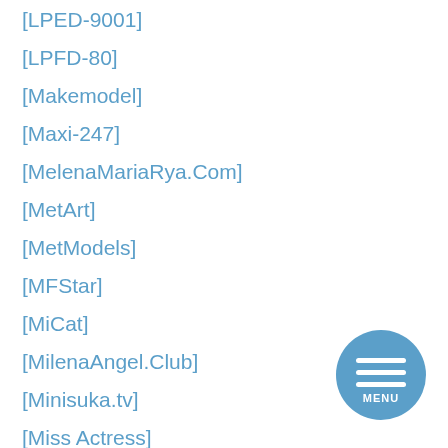[LPED-9001]
[LPFD-80]
[Makemodel]
[Maxi-247]
[MelenaMariaRya.Com]
[MetArt]
[MetModels]
[MFStar]
[MiCat]
[MilenaAngel.Club]
[Minisuka.tv]
[Miss Actress]
[MiStar]
[Figure (other): Circular menu button with three horizontal lines and MENU text, blue background]